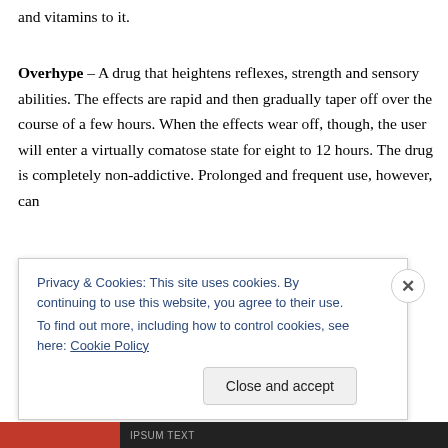and vitamins to it.
Overhype – A drug that heightens reflexes, strength and sensory abilities. The effects are rapid and then gradually taper off over the course of a few hours. When the effects wear off, though, the user will enter a virtually comatose state for eight to 12 hours. The drug is completely non-addictive. Prolonged and frequent use, however, can
Privacy & Cookies: This site uses cookies. By continuing to use this website, you agree to their use.
To find out more, including how to control cookies, see here: Cookie Policy
Close and accept